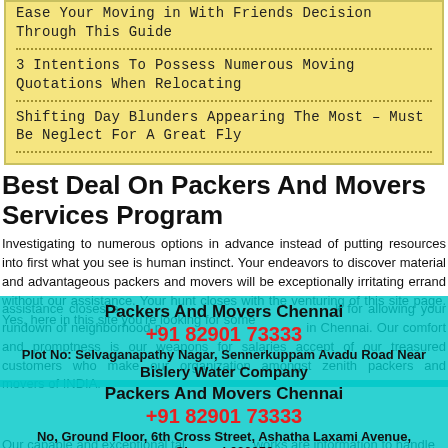Ease Your Moving in With Friends Decision Through This Guide
3 Intentions To Possess Numerous Moving Quotations When Relocating
Shifting Day Blunders Appearing The Most – Must Be Neglect For A Great Fly
Best Deal On Packers And Movers Services Program
Investigating to numerous options in advance instead of putting resources into first what you see is human instinct. Your endeavors to discover material and advantageous packers and movers will be exceptionally irritating errand without our assistance. Your hunt closes with the venturing of this site page. Yes, here in this site you're looking for some
assistance closes and look for allowing your rundown of neighborhood packers and movers in Chennai. Our comfort and promptness is our weapons for salaries accept of our treasured customers who make our organization amongst zenith packers and movers of INDIA.
Packers And Movers Chennai
+91 82901 73333
Plot No: Selvaganapathy Nagar, Sennerkuppam Avadu Road Near Bislery Water Company
Packers And Movers Chennai
+91 82901 73333
No, Ground Floor, 6th Cross Street, Ashatha Laxami Avenue, Chennai 600056
Our capable and exceptional talented networks are information to handle